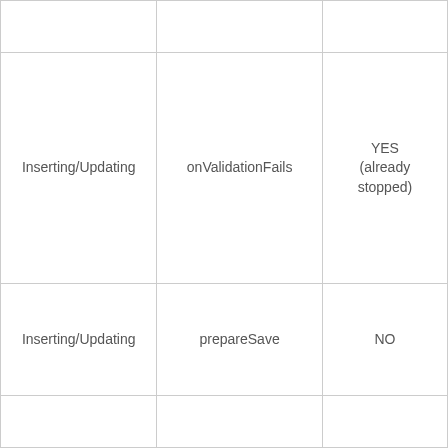|  |  |  |
| Inserting/Updating | onValidationFails | YES
(already stopped) |
| Inserting/Updating | prepareSave | NO |
|  |  |  |